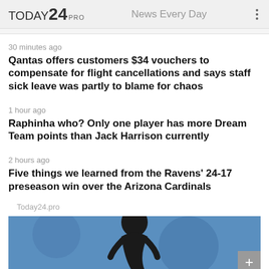TODAY24 PRO — News Every Day
30 minutes ago
Qantas offers customers $34 vouchers to compensate for flight cancellations and says staff sick leave was partly to blame for chaos
1 hour ago
Raphinha who? Only one player has more Dream Team points than Jack Harrison currently
2 hours ago
Five things we learned from the Ravens' 24-17 preseason win over the Arizona Cardinals
Today24.pro
[Figure (photo): Photo of a soccer player in a dark jersey on a blue background, partially visible, head bowed]